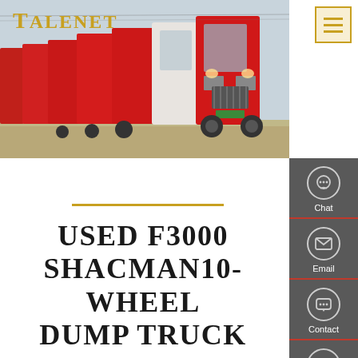[Figure (photo): A row of red and white heavy-duty Shacman F3000 trucks parked side by side in a yard, viewed from the front-side angle.]
TALENET
USED F3000 SHACMAN10-WHEEL DUMP TRUCK